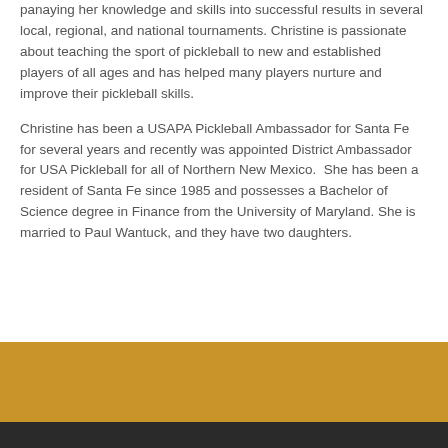panaying her knowledge and skills into successful results in several local, regional, and national tournaments. Christine is passionate about teaching the sport of pickleball to new and established players of all ages and has helped many players nurture and improve their pickleball skills.
Christine has been a USAPA Pickleball Ambassador for Santa Fe for several years and recently was appointed District Ambassador for USA Pickleball for all of Northern New Mexico.  She has been a resident of Santa Fe since 1985 and possesses a Bachelor of Science degree in Finance from the University of Maryland. She is married to Paul Wantuck, and they have two daughters.